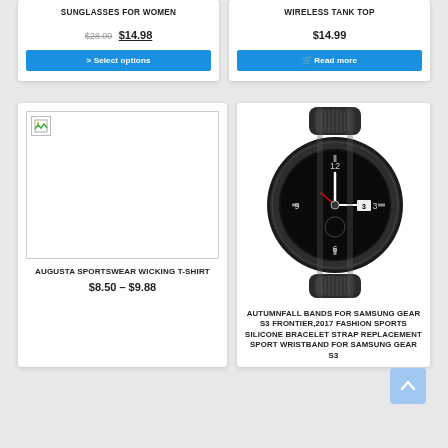SUNGLASSES FOR WOMEN
$28.00 $14.98
> Select options
WIRELESS TANK TOP
$14.99
Read more
[Figure (photo): Broken image placeholder for Augusta Sportswear Wicking T-Shirt]
AUGUSTA SPORTSWEAR WICKING T-SHIRT
$8.50 – $9.88
[Figure (photo): Photo of a Samsung Gear S3 smartwatch with black and grey silicone sport band]
AUTUMNFALL BANDS FOR SAMSUNG GEAR S3 FRONTIER,2017 FASHION SPORTS SILICONE BRACELET STRAP REPLACEMENT SPORT WRISTBAND FOR SAMSUNG GEAR S3